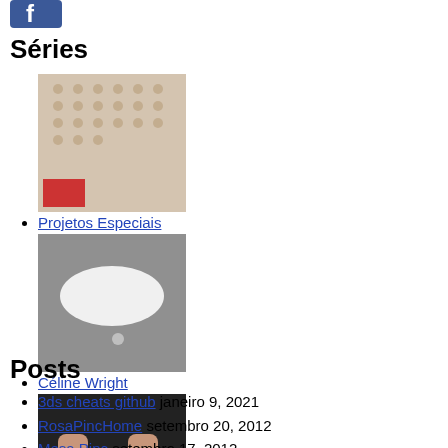[Figure (logo): Facebook-like logo icon with blue background and white F]
Séries
Projetos Especiais
Céline Wright
Pratos
Posts
3ds cheats github janeiro 9, 2021
RosaPincHome setembro 20, 2012
Mesa Pinc setembro 17, 2012